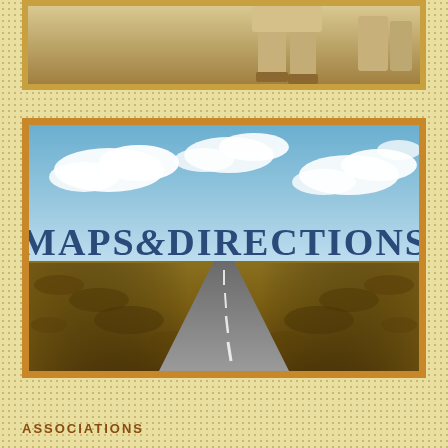[Figure (photo): Cropped top portion of a photo showing a person in tan/beige clothing, only lower body visible, with a warm desert/outdoor background]
[Figure (photo): Banner image of a straight desert road stretching to the horizon under a blue sky with white clouds, with the text 'MAPS & DIRECTIONS' overlaid in large bold blue serif font]
ASSOCIATIONS